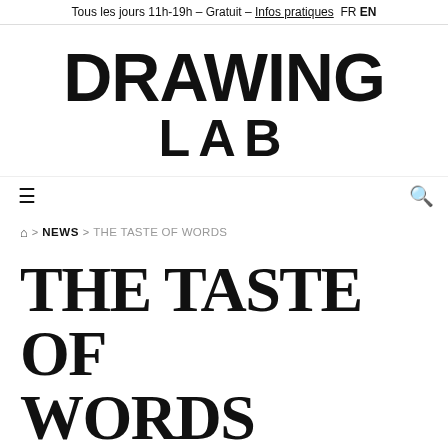Tous les jours 11h-19h – Gratuit – Infos pratiques FR EN
DRAWING LAB
[Figure (other): Hamburger menu icon (three horizontal lines) on the left and a search (magnifying glass) icon on the right, forming a navigation bar]
⌂ > NEWS > THE TASTE OF WORDS
THE TASTE OF WORDS